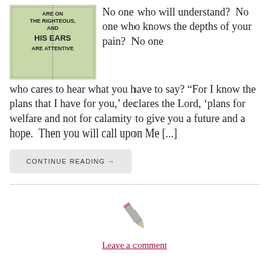[Figure (photo): Book or sign with bold text reading 'ARE ON THE RIGHTEOUS, AND HIS EARS ARE ATTENTIVE' on a green/white background]
No one who will understand?  No one who knows the depths of your pain?  No one who cares to hear what you have to say? “For I know the plans that I have for you,’ declares the Lord, ‘plans for welfare and not for calamity to give you a future and a hope.  Then you will call upon Me [...]
CONTINUE READING →
[Figure (illustration): Pencil icon (gray)]
Leave a comment